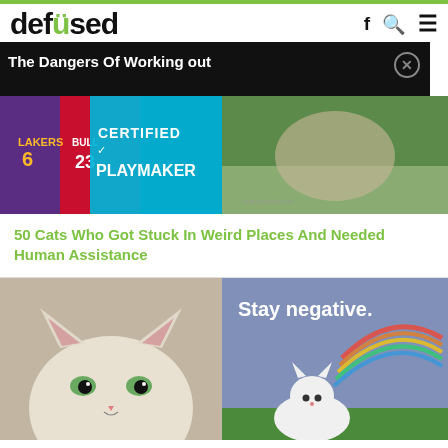defused
The Dangers Of Working out
[Figure (photo): Sports jerseys (Lakers, Bulls) with a cyan overlay reading CERTIFIED PLAYMAKER]
[Figure (photo): Cat photo with blurred background, partially visible]
50 Cats Who Got Stuck In Weird Places And Needed Human Assistance
[Figure (photo): Close-up photo of a white cat with wide eyes looking upward]
[Figure (photo): White cat sitting in front of a rainbow with text 'Stay negative.']